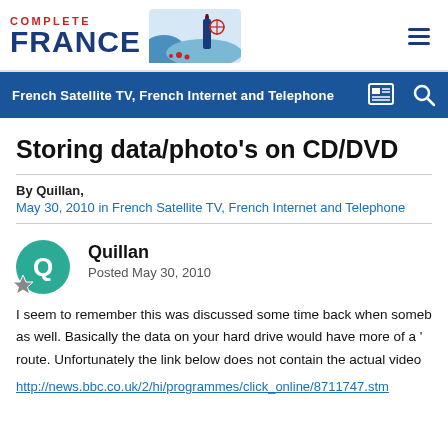[Figure (logo): Complete France logo with text 'COMPLETE FRANCE' and illustrated landscape with wine bottle]
French Satellite TV, French Internet and Telephone
Storing data/photo's on CD/DVD
By Quillan,
May 30, 2010 in French Satellite TV, French Internet and Telephone
Quillan
Posted May 30, 2010
I seem to remember this was discussed some time back when someb as well. Basically the data on your hard drive would have more of a ' route. Unfortunately the link below does not contain the actual video
http://news.bbc.co.uk/2/hi/programmes/click_online/8711747.stm